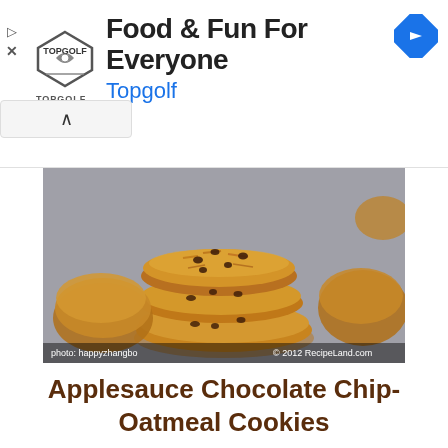[Figure (screenshot): Advertisement banner for Topgolf: 'Food & Fun For Everyone' with Topgolf logo, navigation arrow icon, and collapse button]
[Figure (photo): Stack of oatmeal chocolate chip cookies on a gray surface. Photo credit: happyzhangbo, © 2012 RecipeLand.com]
Applesauce Chocolate Chip-Oatmeal Cookies
★★★★☆ (50)
502
Apple sauce and butter make these cookies super buttery